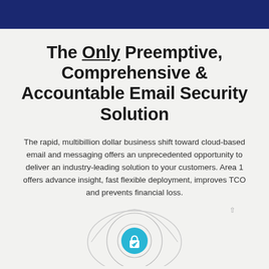The Only Preemptive, Comprehensive & Accountable Email Security Solution
The rapid, multibillion dollar business shift toward cloud-based email and messaging offers an unprecedented opportunity to deliver an industry-leading solution to your customers. Area 1 offers advance insight, fast flexible deployment, improves TCO and prevents financial loss.
[Figure (illustration): An eye outline icon with a cyan/teal circle in the center containing a lock/shield symbol, partially visible at bottom of page]